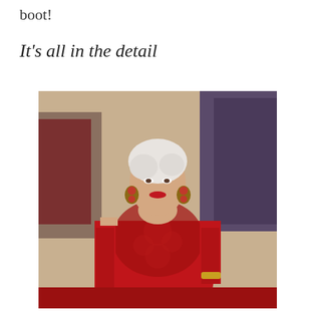boot!
It's all in the detail
[Figure (photo): A woman with short silver hair wearing a red lace gown with statement earrings, posing at what appears to be a formal event or red carpet. Background shows other attendees and photographers.]